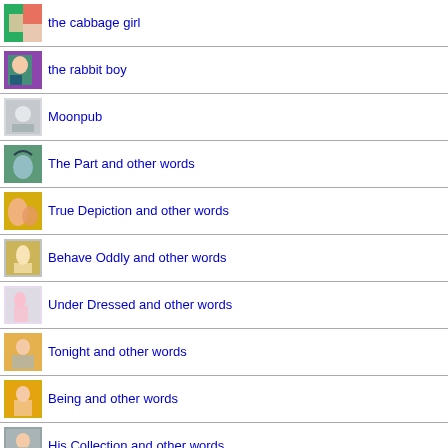the cabbage girl
the rabbit boy
Moonpub
The Part and other words
True Depiction and other words
Behave Oddly and other words
Under Dressed and other words
Tonight and other words
Being and other words
His Collection and other words
Venus and other symbols